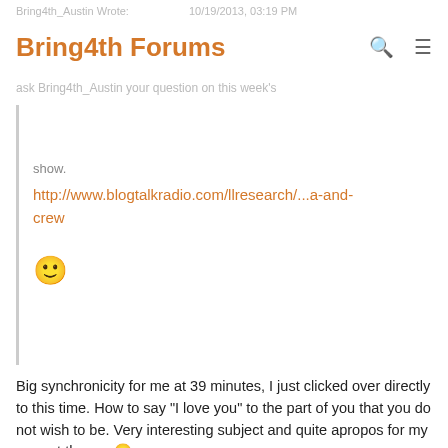Bring4th Forums
show.
http://www.blogtalkradio.com/llresearch/...a-and-crew
[Figure (other): Smiley face emoji 🙂]
Big synchronicity for me at 39 minutes, I just clicked over directly to this time. How to say "I love you" to the part of you that you do not wish to be. Very interesting subject and quite apropos for my current theme. 🙂
Community Stewardship Circle
🌐